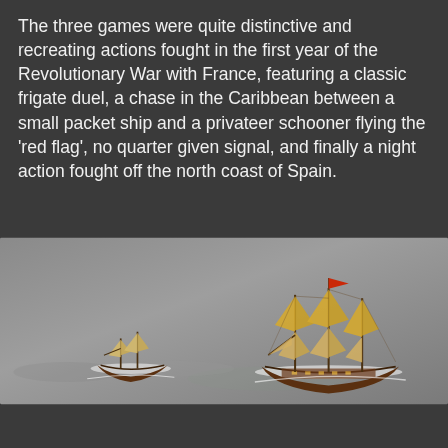The three games were quite distinctive and recreating actions fought in the first year of the Revolutionary War with France, featuring a classic frigate duel, a chase in the Caribbean between a small packet ship and a privateer schooner flying the 'red flag', no quarter given signal, and finally a night action fought off the north coast of Spain.
[Figure (photo): Two miniature sailing ship models on a grey sea gaming mat. A smaller two-masted vessel on the left and a larger three-masted frigate on the right with a red flag, both at 1:700th scale.]
With only a couple of models on the table the 1:700th scale comes into its own by providing presence, that many empty sea naval games struggle to offer when compared with terrain heavy large figure games on land.
[Figure (photo): Partial view of miniature sailing ship models, cropped at the bottom of the page, showing masts and rigging of 1:700th scale ships.]